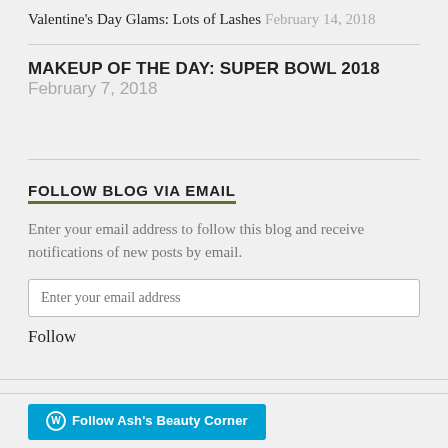Valentine's Day Glams: Lots of Lashes  February 14, 2018
MAKEUP OF THE DAY: SUPER BOWL 2018  February 7, 2018
FOLLOW BLOG VIA EMAIL
Enter your email address to follow this blog and receive notifications of new posts by email.
Follow
Follow Ash's Beauty Corner